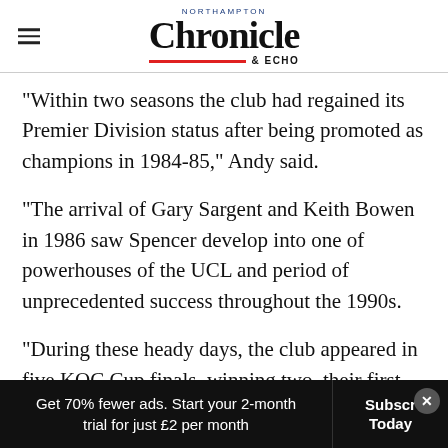NORTHAMPTON Chronicle & ECHO
"Within two seasons the club had regained its Premier Division status after being promoted as champions in 1984-85," Andy said.
"The arrival of Gary Sargent and Keith Bowen in 1986 saw Spencer develop into one of powerhouses of the UCL and period of unprecedented success throughout the 1990s.
"During these heady days, the club appeared in five KOC Cup finals, winning two, their first
Get 70% fewer ads. Start your 2-month trial for just £2 per month | Subscribe Today